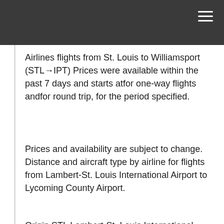Airlines flights from St. Louis to Williamsport (STL→IPT) Prices were available within the past 7 days and starts atfor one-way flights andfor round trip, for the period specified.
Prices and availability are subject to change. Distance and aircraft type by airline for flights from Lambert-St. Louis International Airport to Lycoming County Airport.
Origin STL Lambert-St. Louis International Airport. Destination IPT Lycoming County Airport. Distance miles. Interesting Facts About Flights from Saint Louis to Williamsport (STL to IPT).
Book flexible airline tickets for flights to Williamsport IPT from St. Louis STL Some airlines let you change your travel dates without charging a